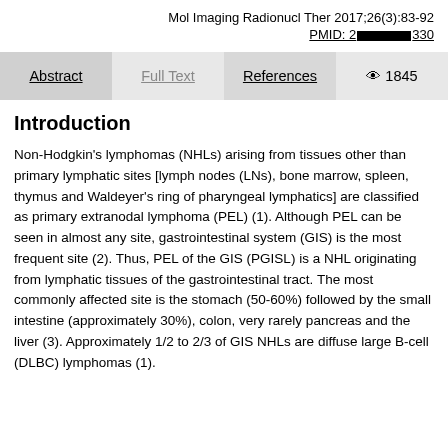Mol Imaging Radionucl Ther 2017;26(3):83-92
PMID: 2[redacted]330
Abstract   Full Text   References   👁 1845
Introduction
Non-Hodgkin's lymphomas (NHLs) arising from tissues other than primary lymphatic sites [lymph nodes (LNs), bone marrow, spleen, thymus and Waldeyer's ring of pharyngeal lymphatics] are classified as primary extranodal lymphoma (PEL) (1). Although PEL can be seen in almost any site, gastrointestinal system (GIS) is the most frequent site (2). Thus, PEL of the GIS (PGISL) is a NHL originating from lymphatic tissues of the gastrointestinal tract. The most commonly affected site is the stomach (50-60%) followed by the small intestine (approximately 30%), colon, very rarely pancreas and the liver (3). Approximately 1/2 to 2/3 of GIS NHLs are diffuse large B-cell (DLBC) lymphomas (1).